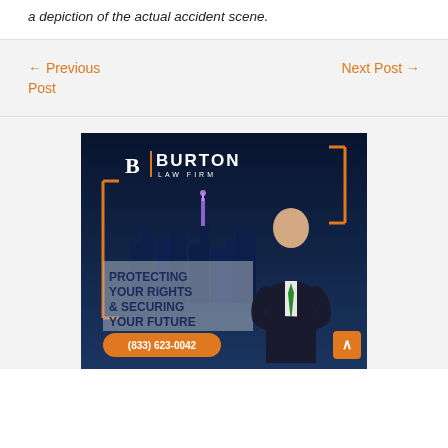a depiction of the actual accident scene.
← Previous Post
Next Post →
[Figure (photo): Burton Law Firm advertisement banner featuring the firm logo, a lawyer in a dark suit with green tie standing in front of a city skyline at night, text reading 'PROTECTING YOUR RIGHTS & SECURING YOUR FUTURE' and phone number (833) 623-0042]